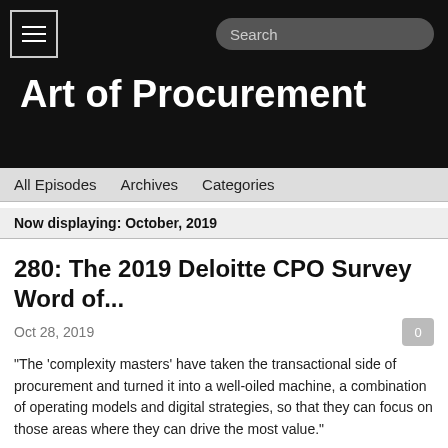Art of Procurement
All Episodes   Archives   Categories
Now displaying: October, 2019
280: The 2019 Deloitte CPO Survey Word of...
Oct 28, 2019
“The ‘complexity masters’ have taken the transactional side of procurement and turned it into a well-oiled machine, a combination of operating models and digital strategies, so that they can focus on those areas where they can drive the most value.”
The annual Deloitte Global CPO survey is one of the most anticipated reports of the year. In this year’s report, the 11th annual, the authors took a different approach than they have in the past, calling out a single word of focus: complexity. Ryan Flynn is a Principal at Deloitte Consulting with 14 years of